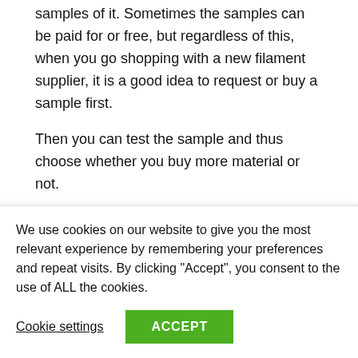samples of it. Sometimes the samples can be paid for or free, but regardless of this, when you go shopping with a new filament supplier, it is a good idea to request or buy a sample first.
Then you can test the sample and thus choose whether you buy more material or not.
3. A good 3D printing filament supplier offers consumers clear instructions and settings on how to use their products.
4. Good packaging is a good indicator that the material sold...
We use cookies on our website to give you the most relevant experience by remembering your preferences and repeat visits. By clicking “Accept”, you consent to the use of ALL the cookies.
Cookie settings
ACCEPT